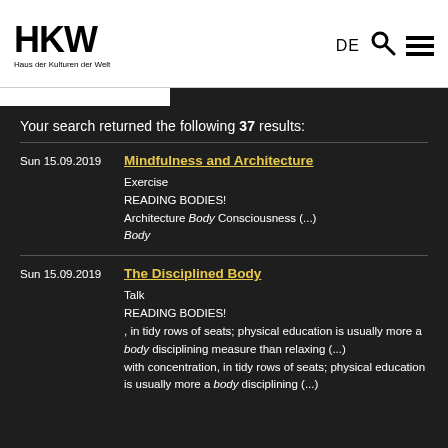HKW — Haus der Kulturen der Welt
Your search returned the following 37 results:
Sun 15.09.2019 — Mindfulness and Architecture
Exercise
READING BODIES!
Architecture Body Consciousness (...)
Body
Sun 15.09.2019 — The Disciplined Body
Talk
READING BODIES!
, in tidy rows of seats; physical education is usually more a body disciplining measure than relaxing (...)
with concentration, in tidy rows of seats; physical education is usually more a body disciplining (...)